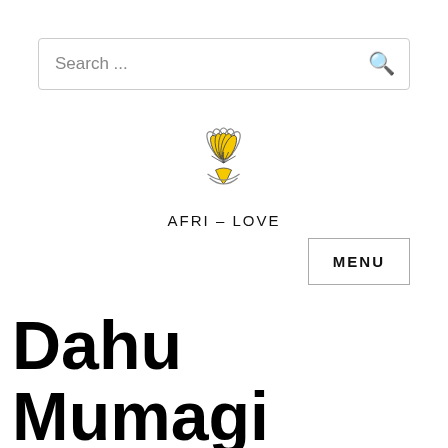Search ...
[Figure (logo): Afri-Love logo: a stylized yellow protea flower with grey/white petals outline and decorative lines, centered above the brand name AFRI-LOVE in spaced capital letters]
MENU
Dahu Mumagi